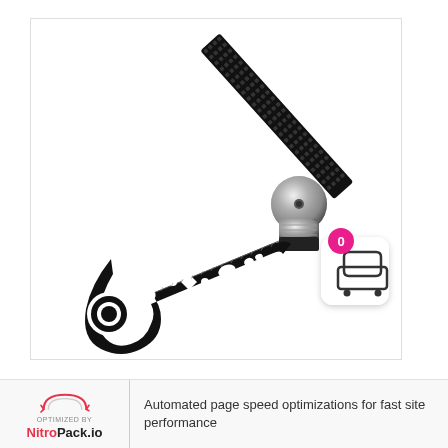[Figure (photo): A product photo of a multi-tool measuring/drawing instrument (black metal French curve / compass tool with ruler markings and cutout shapes) attached to a metal cylindrical mechanism, with a black serrated ruler strip extending diagonally upper right. A shopping cart icon with a pink badge showing '0' is overlaid in the lower right corner.]
OPTIMIZED BY NitroPack.io  Automated page speed optimizations for fast site performance